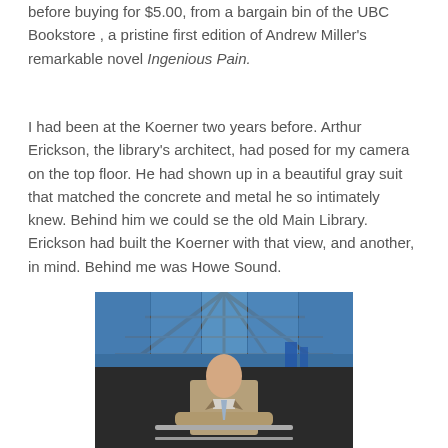before buying for $5.00, from a bargain bin of the UBC Bookstore , a pristine first edition of Andrew Miller's remarkable novel Ingenious Pain.
I had been at the Koerner two years before. Arthur Erickson, the library's architect, had posed for my camera on the top floor. He had shown up in a beautiful gray suit that matched the concrete and metal he so intimately knew. Behind him we could se the old Main Library. Erickson had built the Koerner with that view, and another, in mind. Behind me was Howe Sound.
[Figure (photo): A man in a gray/beige suit standing in front of a large glass and steel atrium structure, likely inside a modern library building. Blue sky and city skyline visible through the glass.]